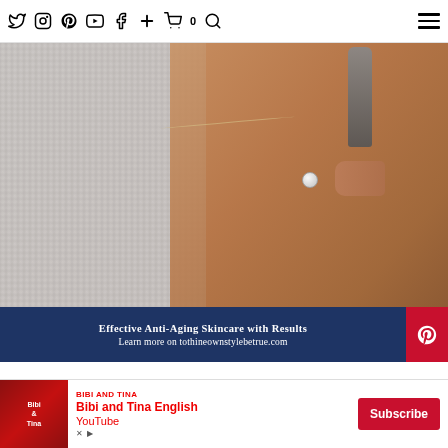Twitter Instagram Pinterest YouTube Facebook + Cart(0) Search | Menu
[Figure (photo): Close-up photo of a woman in a white knit sweater holding a skincare device against her neck/collarbone area, wearing a white ring, with a gold necklace visible.]
Effective Anti-Aging Skincare with Results
Learn more on tothineownstylebetrue.com
Follow:
Twitter Instagram Pinterest YouTube Facebook +
You may also enjoy:
Bibi and Tina
Bibi and Tina English YouTube
Subscribe